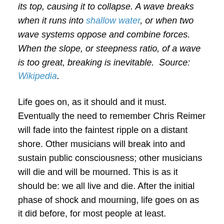its top, causing it to collapse. A wave breaks when it runs into shallow water, or when two wave systems oppose and combine forces. When the slope, or steepness ratio, of a wave is too great, breaking is inevitable.  Source: Wikipedia.
Life goes on, as it should and it must. Eventually the need to remember Chris Reimer will fade into the faintest ripple on a distant shore. Other musicians will break into and sustain public consciousness; other musicians will die and will be mourned. This is as it should be: we all live and die. After the initial phase of shock and mourning, life goes on as it did before, for most people at least.
This has been one of the hardest things for me to reconcile: That to the wider world and perhaps even to our